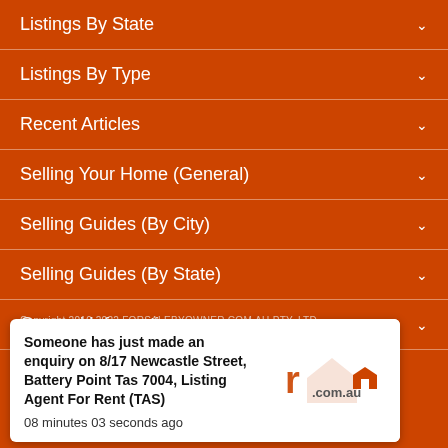Listings By State
Listings By Type
Recent Articles
Selling Your Home (General)
Selling Guides (By City)
Selling Guides (By State)
General Information
Copyright 2010-2022 FORSALEBYOWNER.COM.AU PTY. LTD.
Someone has just made an enquiry on 8/17 Newcastle Street, Battery Point Tas 7004, Listing Agent For Rent (TAS)
08 minutes 03 seconds ago